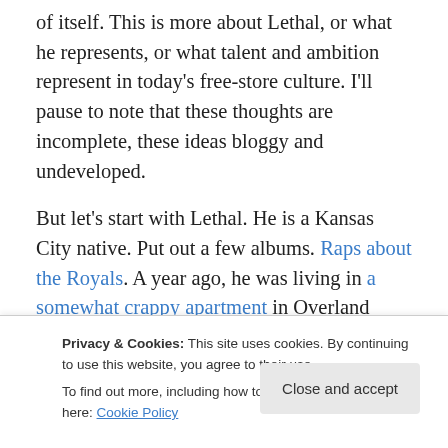of itself. This is more about Lethal, or what he represents, or what talent and ambition represent in today's free-store culture. I'll pause to note that these thoughts are incomplete, these ideas bloggy and undeveloped.
But let's start with Lethal. He is a Kansas City native. Put out a few albums. Raps about the Royals. A year ago, he was living in a somewhat crappy apartment in Overland Park. The kind of place any late 20-something would live.
And for me, this all makes him interesting. He's been
Privacy & Cookies: This site uses cookies. By continuing to use this website, you agree to their use. To find out more, including how to control cookies, see here: Cookie Policy
Kansas City, you may have HEARD of him, and you might